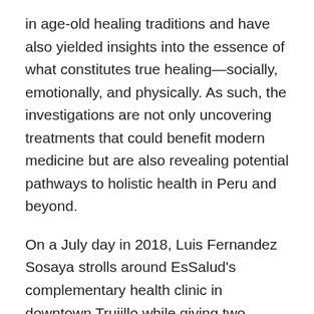in age-old healing traditions and have also yielded insights into the essence of what constitutes true healing—socially, emotionally, and physically. As such, the investigations are not only uncovering treatments that could benefit modern medicine but are also revealing potential pathways to holistic health in Peru and beyond.
On a July day in 2018, Luis Fernandez Sosaya strolls around EsSalud's complementary health clinic in downtown Trujillo while giving two anthropologists a tour. Fernandez, a physician, coordinates the clinic and is, himself, a pioneer of the program.
The anthropologists are the 2018 field leaders of the Minority Health and Health Disparities International Research Training Program in North Peru funded by the National Institutes of Health in the United States. Some...